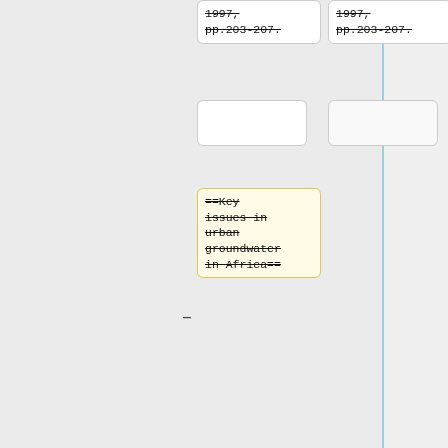pp.203-207.
==Key issues in urban groundwater in Africa==
===Groundwater pollution / contamination===
Groundwater-fed water supplies —